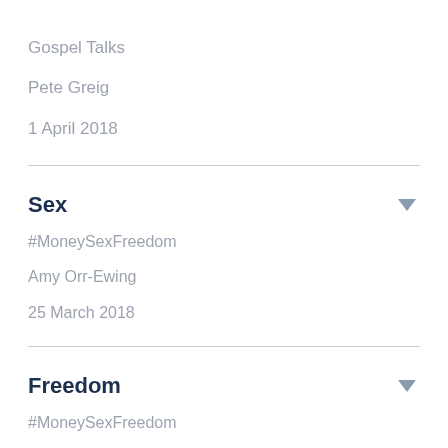Gospel Talks
Pete Greig
1 April 2018
Sex
#MoneySexFreedom
Amy Orr-Ewing
25 March 2018
Freedom
#MoneySexFreedom